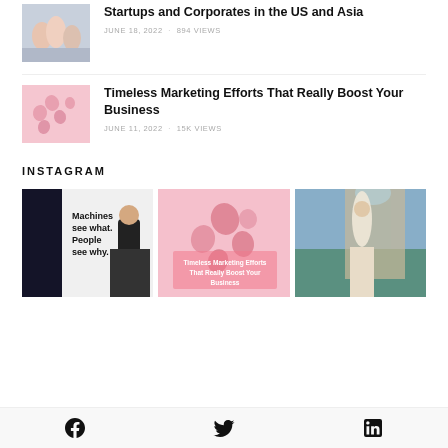[Figure (photo): Group of people sitting, casual photo]
Startups and Corporates in the US and Asia
JUNE 18, 2022 · 894 VIEWS
[Figure (photo): Pink background with paper hearts]
Timeless Marketing Efforts That Really Boost Your Business
JUNE 11, 2022 · 15K VIEWS
INSTAGRAM
[Figure (photo): Black and white photo with text: Machines see what. People see why.]
[Figure (photo): Pink background with hearts and text: Timeless Marketing Efforts That Really Boost Your Business]
[Figure (photo): Woman in white dress near Eiffel Tower]
Facebook icon, Twitter icon, LinkedIn icon